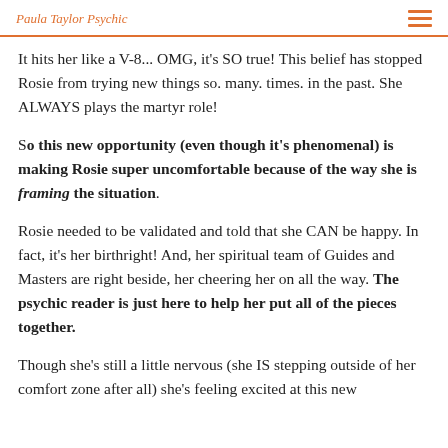Paula Taylor Psychic
It hits her like a V-8... OMG, it's SO true! This belief has stopped Rosie from trying new things so. many. times. in the past. She ALWAYS plays the martyr role!
So this new opportunity (even though it's phenomenal) is making Rosie super uncomfortable because of the way she is framing the situation.
Rosie needed to be validated and told that she CAN be happy. In fact, it's her birthright! And, her spiritual team of Guides and Masters are right beside, her cheering her on all the way. The psychic reader is just here to help her put all of the pieces together.
Though she's still a little nervous (she IS stepping outside of her comfort zone after all) she's feeling excited at this new